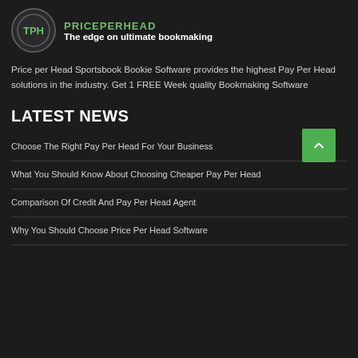[Figure (logo): Circular logo with 'TPH' text inside, representing Price Per Head Sportsbook, with tagline 'The edge on ultimate bookmaking' in bold white text]
Price per Head Sportsbook Bookie Software provides the highest Pay Per Head solutions in the industry. Get 1 FREE Week quality Bookmaking Software
LATEST NEWS
Choose The Right Pay Per Head For Your Business
What You Should Know About Choosing Cheaper Pay Per Head
Comparison Of Credit And Pay Per Head Agent
Why You Should Choose Price Per Head Software